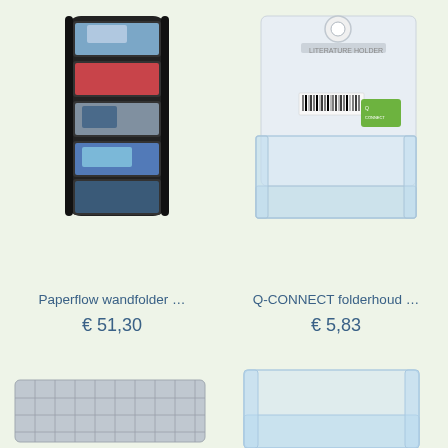[Figure (photo): Paperflow wall-mounted brochure holder, black, with travel brochures inside, multiple pockets]
[Figure (photo): Q-CONNECT transparent literature/folder holder, desktop, clear acrylic, with product label]
Paperflow wandfolder …
Q-CONNECT folderhoud …
€ 51,30
€ 5,83
[Figure (photo): Metal mesh folder/document holder, partially visible at bottom left]
[Figure (photo): Clear acrylic folder holder, partially visible at bottom right]